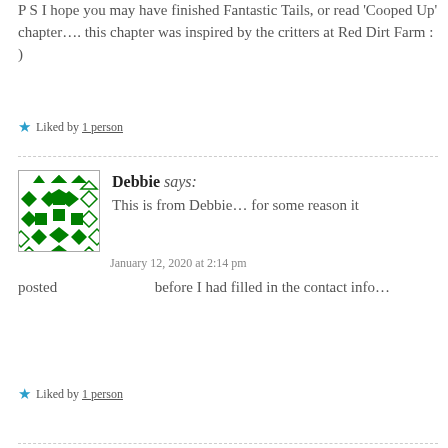P S I hope you may have finished Fantastic Tails, or read 'Cooped Up' chapter…. this chapter was inspired by the critters at Red Dirt Farm : )
Liked by 1 person
Debbie says: This is from Debbie… for some reason it posted before I had filled in the contact info…
January 12, 2020 at 2:14 pm
Liked by 1 person